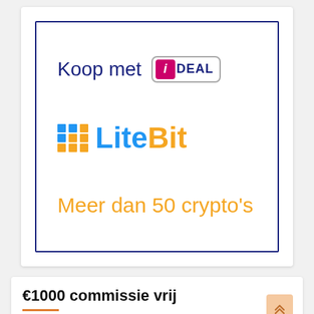[Figure (logo): LiteBit advertisement card with iDEAL payment logo, LiteBit logo, and text 'Meer dan 50 crypto's'. White card with dark blue border.]
€1000 commissie vrij